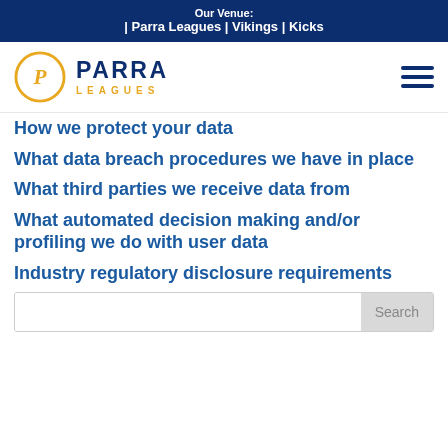Our Venue: | Parra Leagues | Vikings | Kicks
[Figure (logo): Parra Leagues logo with golden circle P and hamburger menu icon]
How we protect your data
What data breach procedures we have in place
What third parties we receive data from
What automated decision making and/or profiling we do with user data
Industry regulatory disclosure requirements